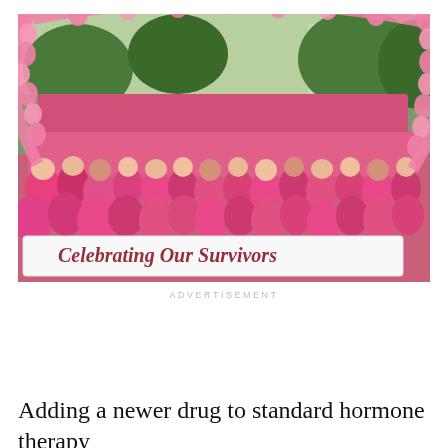[Figure (photo): A large crowd of people wearing pink t-shirts at a breast cancer awareness walk event. Many participants carry a large white banner reading 'Celebrating Our Survivors' in dark red cursive text. Pink balloon arches are visible overhead. The event takes place on a city street with trees and buildings in the background.]
ADVERTISEMENT
Adding a newer drug to standard hormone therapy